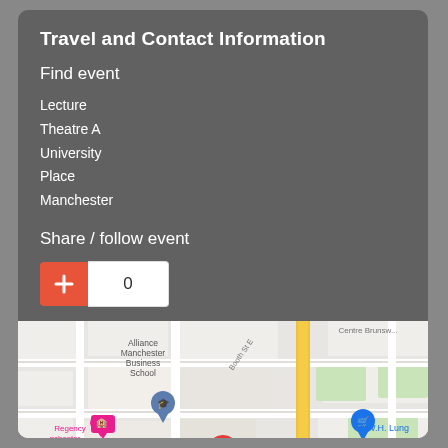Travel and Contact Information
Find event
Lecture
Theatre A
University
Place
Manchester
Share / follow event
0
[Figure (map): Google Maps screenshot showing the area around University Place, Manchester. Visible landmarks include Alliance Manchester Business School, Manchester Museum (Temporarily closed), Regency Manchester hotel, W.H. Lung store, and Booth St E road. A red map pin marks the event location near Manchester Museum.]